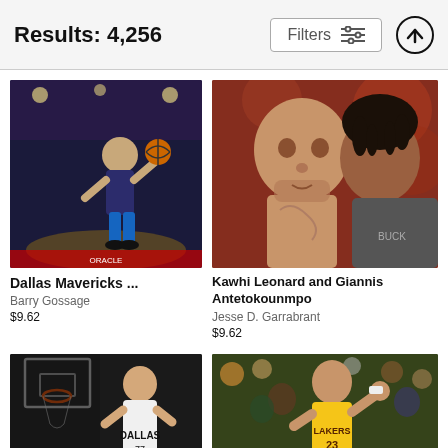Results: 4,256
[Figure (screenshot): Filters button with filter/sliders icon]
[Figure (photo): Basketball player (Luka Doncic) dunking for Dallas Mavericks]
Dallas Mavericks ...
Barry Gossage
$9.62
[Figure (photo): Kawhi Leonard and Giannis Antetokounmpo facing off]
Kawhi Leonard and Giannis Antetokounmpo
Jesse D. Garrabrant
$9.62
[Figure (photo): Luka Doncic standing near hoop in Dallas Mavericks jersey]
[Figure (photo): LeBron James (#23) in Lakers jersey among crowd]